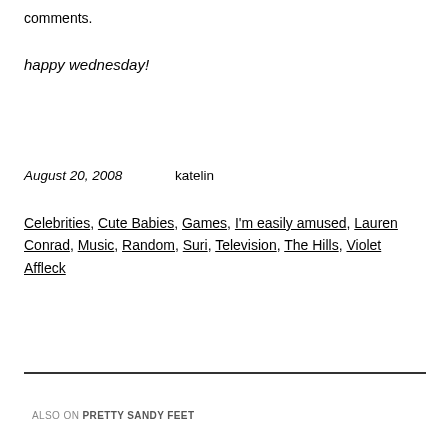comments.
happy wednesday!
August 20, 2008     katelin
Celebrities, Cute Babies, Games, I'm easily amused, Lauren Conrad, Music, Random, Suri, Television, The Hills, Violet Affleck
ALSO ON PRETTY SANDY FEET